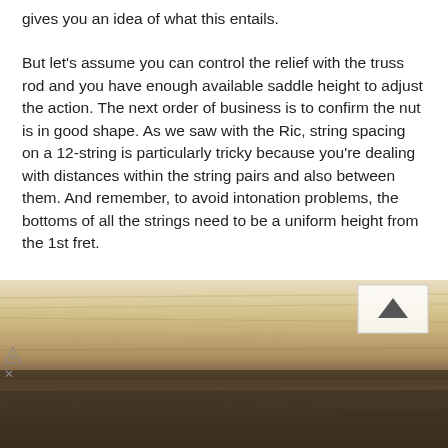gives you an idea of what this entails.
But let’s assume you can control the relief with the truss rod and you have enough available saddle height to adjust the action. The next order of business is to confirm the nut is in good shape. As we saw with the Ric, string spacing on a 12-string is particularly tricky because you’re dealing with distances within the string pairs and also between them. And remember, to avoid intonation problems, the bottoms of all the strings need to be a uniform height from the 1st fret.
[Figure (photo): Close-up photo of a guitar fretboard/nut area showing wood grain and strings, with an advertisement overlay for Topgolf showing Dine-in and Delivery options.]